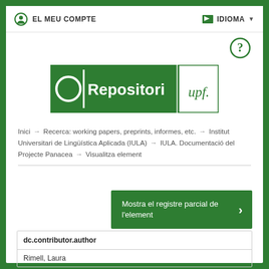EL MEU COMPTE    IDIOMA
[Figure (logo): e-Repositori UPF logo — green rectangle with white 'e-Repositori' text and white border box with green 'upf.' text]
Inici → Recerca: working papers, preprints, informes, etc. → Institut Universitari de Lingüística Aplicada (IULA) → IULA. Documentació del Projecte Panacea → Visualitza element
Mostra el registre parcial de l'element
| dc.contributor.author |
| --- |
| Rimell, Laura |